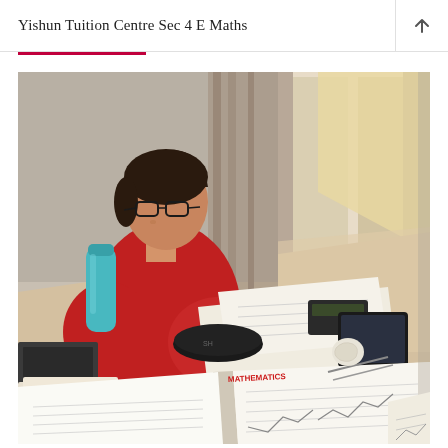Yishun Tuition Centre Sec 4 E Maths
[Figure (photo): A student wearing a red t-shirt and glasses sits at a wooden table, writing on paper. A teal water bottle is on the left. The table has textbooks, a calculator, a pencil case, a tablet device, and crumpled paper. An open Mathematics textbook is in the foreground. Curtains and a window are visible in the background.]